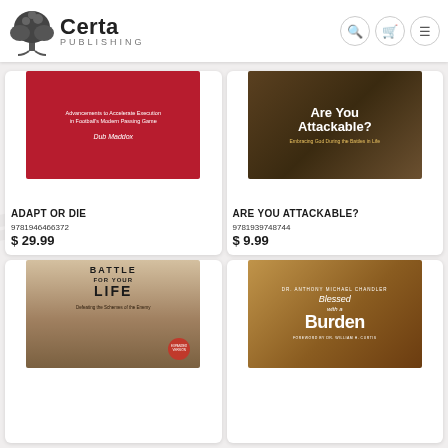[Figure (logo): Certa Publishing logo with tree illustration and text]
[Figure (illustration): Book cover: ADAPT OR DIE by Dub Maddox, red background]
ADAPT OR DIE
9781946466372
$ 29.99
[Figure (illustration): Book cover: Are You Attackable? Embracing God During the Battles in Life, dark brown background]
ARE YOU ATTACKABLE?
9781939748744
$ 9.99
[Figure (illustration): Book cover: BATTLE FOR YOUR LIFE - Defeating the Schemes of the Enemy, Expanded Version]
[Figure (illustration): Book cover: Blessed with a Burden by Dr. Anthony Michael Chandler, Foreword by Dr. William H. Curtis]